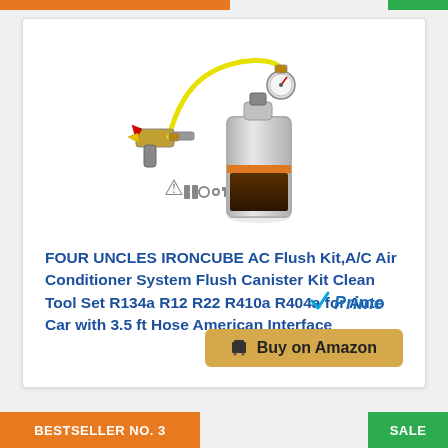[Figure (photo): AC flush kit product photo showing a silver canister with pressure gauge, yellow hose, and spray gun attachment with small accessory pieces laid out below]
FOUR UNCLES IRONCUBE AC Flush Kit,A/C Air Conditioner System Flush Canister Kit Clean Tool Set R134a R12 R22 R410a R404a for Auto Car with 3.5 ft Hose American Interface
[Figure (logo): Amazon Prime logo with blue checkmark and italic Prime text in blue]
Buy on Amazon
BESTSELLER NO. 3
SALE